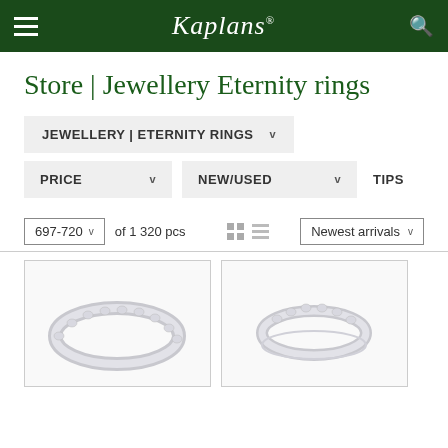Kaplans
Store | Jewellery Eternity rings
JEWELLERY | ETERNITY RINGS  v
PRICE  v    NEW/USED  v    TIPS
697-720  v  of 1 320 pcs    Newest arrivals  v
[Figure (photo): Diamond eternity ring in white gold, viewed from the side showing multiple round brilliant diamonds set around the band]
[Figure (photo): Diamond eternity ring in white gold, viewed at an angle showing a row of round brilliant diamonds set on the top half of the band]